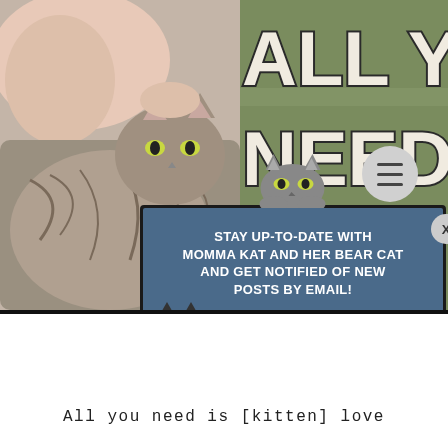[Figure (photo): Screenshot of a webpage showing a photo of a sleeping baby with a tabby cat, overlaid with a green panel showing bold text 'ALL YOU NEED IS [KITTEN] LOVE', and a popup modal for email subscription to 'Momma Kat and Her Bear Cat' newsletter. A menu hamburger button is visible in the lower right.]
All you need is [kitten] love